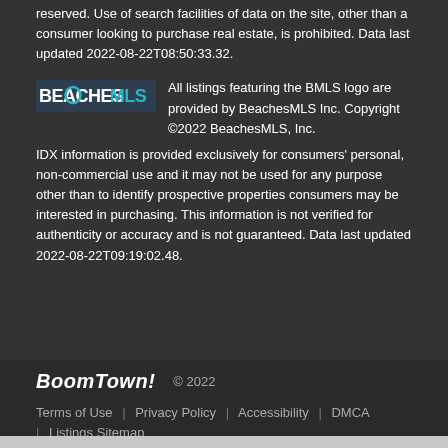reserved. Use of search facilities of data on the site, other than a consumer looking to purchase real estate, is prohibited. Data last updated 2022-08-22T08:50:33.32.
All listings featuring the BMLS logo are provided by BeachesMLS Inc. Copyright ©2022 BeachesMLS, Inc. IDX information is provided exclusively for consumers' personal, non-commercial use and it may not be used for any purpose other than to identify prospective properties consumers may be interested in purchasing. This information is not verified for authenticity or accuracy and is not guaranteed. Data last updated 2022-08-22T09:19:02.48.
BoomTown! © 2022 | Terms of Use | Privacy Policy | Accessibility | DMCA | Listings Sitemap
Take a Tour | Ask A Question